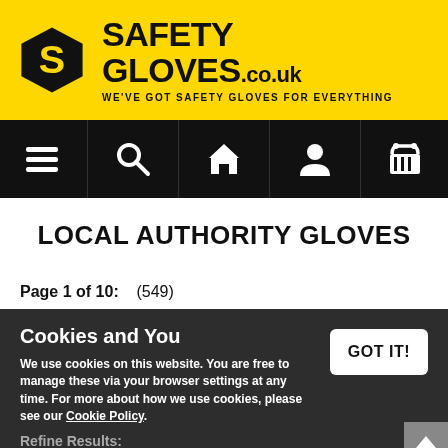[Figure (logo): Safety Gloves .co.uk logo with hexagon shield icon and tagline WE'VE GOT SAFETY GLOVES FOR EVERYTHING on yellow background]
[Figure (screenshot): Black navigation bar with 5 icons: hamburger menu, search magnifier, home, user/person, shopping basket]
LOCAL AUTHORITY GLOVES
Page 1 of 10:    (549)
Cookies and You
We use cookies on this website. You are free to manage these via your browser settings at any time. For more about how we use cookies, please see our Cookie Policy.
Refine Results: